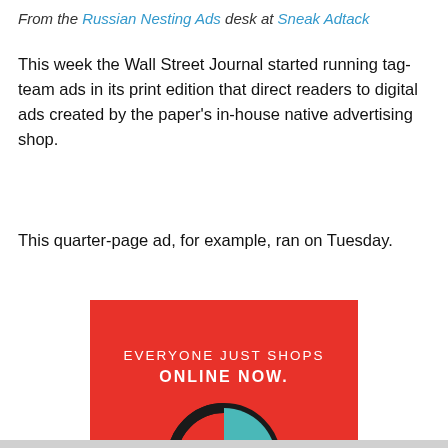From the Russian Nesting Ads desk at Sneak Adtack
This week the Wall Street Journal started running tag-team ads in its print edition that direct readers to digital ads created by the paper's in-house native advertising shop.
This quarter-page ad, for example, ran on Tuesday.
[Figure (illustration): Red advertisement image with white text reading 'EVERYONE JUST SHOPS ONLINE NOW.' and a partial circular graphic at the bottom.]